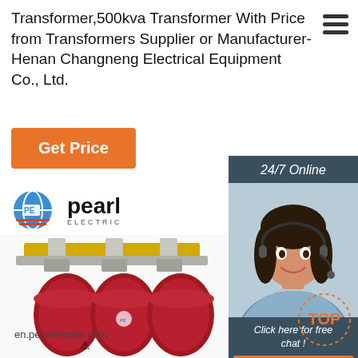Transformer,500kva Transformer With Price from Transformers Supplier or Manufacturer-Henan Changneng Electrical Equipment Co., Ltd.
[Figure (screenshot): Orange 'Get Price' button]
[Figure (screenshot): Dark teal panel with '24/7 Online' text and a photo of a female customer service agent wearing a headset, with 'Click here for free chat!' text and an orange 'QUOTATION' button below]
[Figure (logo): Pearl Electric logo with blue globe icon and text 'pearl ELECTRIC']
[Figure (photo): Three-phase dry-type transformer with red cylindrical coils and yellow top bar structure, watermarked with 'en.pearlelectric.com']
[Figure (other): Dotted 'TOP' badge in bottom right corner]